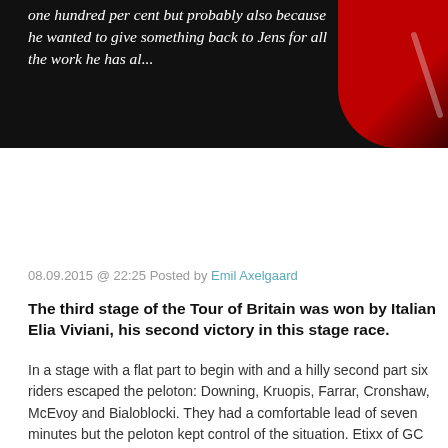[Figure (photo): Dark background image with italic white quote text and a red bicycle wheel element visible in the upper right corner.]
08.09.2015 @ 22:25 Posted by Emil Axelgaard
The third stage of the Tour of Britain was won by Italian Elia Viviani, his second victory in this stage race.
In a stage with a flat part to begin with and a hilly second part six riders escaped the peloton: Downing, Kruopis, Farrar, Cronshaw, McEvoy and Bialoblocki. They had a comfortable lead of seven minutes but the peloton kept control of the situation. Etixx of GC leader Vakoc, Lotto Soudal, Sky and Cannondale led the chase. Three of the six escapees were dropped, but also the final attackers couldn't hold off the peloton. Lotto Soudal was strong during the sprint preparation, but in the final phase it all went